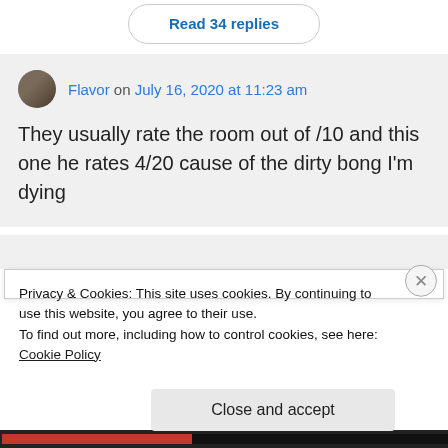Read 34 replies
Flavor on July 16, 2020 at 11:23 am
They usually rate the room out of /10 and this one he rates 4/20 cause of the dirty bong I'm dying
Privacy & Cookies: This site uses cookies. By continuing to use this website, you agree to their use.
To find out more, including how to control cookies, see here: Cookie Policy
Close and accept